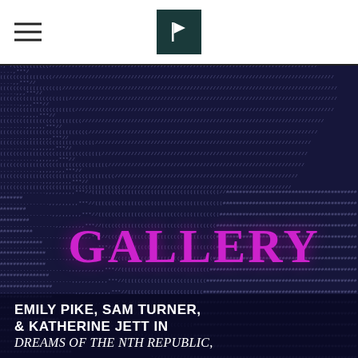GALLERY (logo/navigation header)
[Figure (illustration): Dark navy background filled with ASCII art texture of slashes, parentheses, and hash characters forming a large abstract figure silhouette. The word GALLERY is overlaid in large bold magenta/purple serif text in the center. Below are white text credits reading EMILY PIKE, SAM TURNER, & KATHERINE JETT IN and italic text DREAMS OF THE NTH REPUBLIC,]
GALLERY
EMILY PIKE, SAM TURNER,
& KATHERINE JETT IN
DREAMS OF THE NTH REPUBLIC,